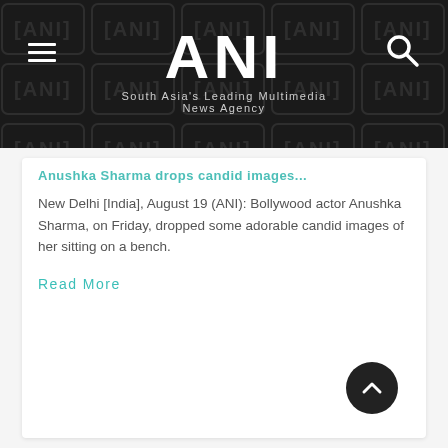ANI — South Asia's Leading Multimedia News Agency
Anushka Sharma drops adorable candid images...
New Delhi [India], August 19 (ANI): Bollywood actor Anushka Sharma, on Friday, dropped some adorable candid images of her sitting on a bench.
Read More